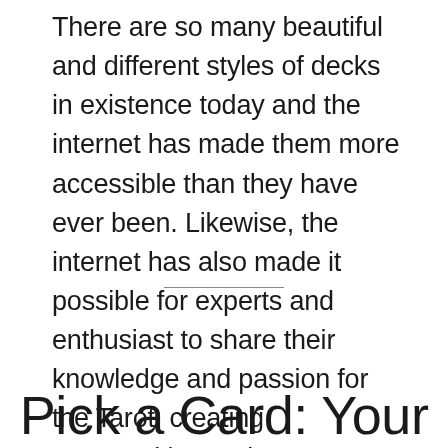There are so many beautiful and different styles of decks in existence today and the internet has made them more accessible than they have ever been. Likewise, the internet has also made it possible for experts and enthusiast to share their knowledge and passion for the Tarot, creating communities and connections that anyone can benefit from.
Pick a Card: Your